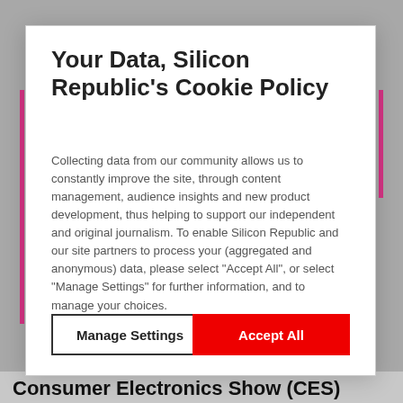Your Data, Silicon Republic's Cookie Policy
Collecting data from our community allows us to constantly improve the site, through content management, audience insights and new product development, thus helping to support our independent and original journalism. To enable Silicon Republic and our site partners to process your (aggregated and anonymous) data, please select "Accept All", or select "Manage Settings" for further information, and to manage your choices.
Manage Settings
Accept All
Consumer Electronics Show (CES)